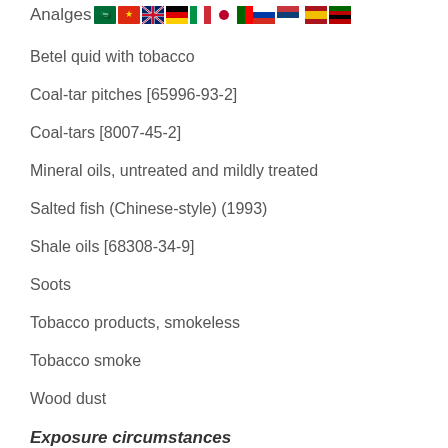Analges [flags]
Betel quid with tobacco
Coal-tar pitches [65996-93-2]
Coal-tars [8007-45-2]
Mineral oils, untreated and mildly treated
Salted fish (Chinese-style) (1993)
Shale oils [68308-34-9]
Soots
Tobacco products, smokeless
Tobacco smoke
Wood dust
Exposure circumstances